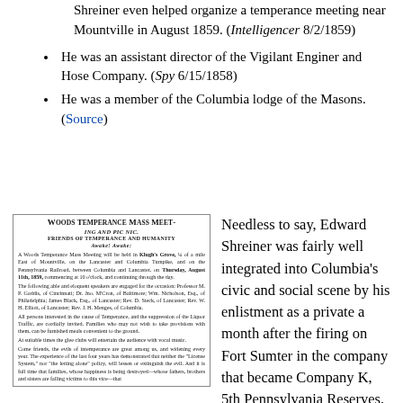Shreiner even helped organize a temperance meeting near Mountville in August 1859. (Intelligencer 8/2/1859)
He was an assistant director of the Vigilant Enginer and Hose Company. (Spy 6/15/1858)
He was a member of the Columbia lodge of the Masons. (Source)
[Figure (photo): Newspaper clipping titled 'Woods Temperance Mass Meeting and Pic Nic' with subheading 'Friends of Temperance and Humanity Awake! Awake!' describing a mass meeting to be held in Klugh's Grove near Mountville on Thursday August 11th 1859.]
Needless to say, Edward Shreiner was fairly well integrated into Columbia's civic and social scene by his enlistment as a private a month after the firing on Fort Sumter in the company that became Company K, 5th Pennsylvania Reserves. He